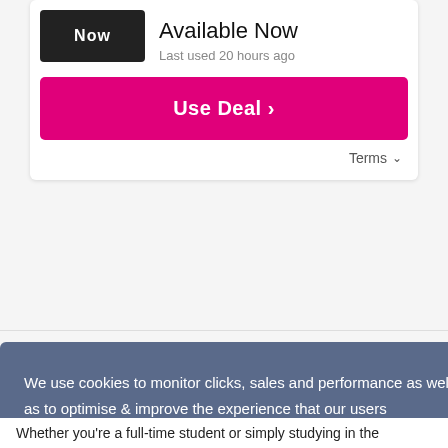Now
Available Now
Last used 20 hours ago
Use Deal ›
Terms ˅
We use cookies to monitor clicks, sales and performance as well as to optimise & improve the experience that our users receive. Learn more
GOT IT!
Whether you're a full-time student or simply studying in the